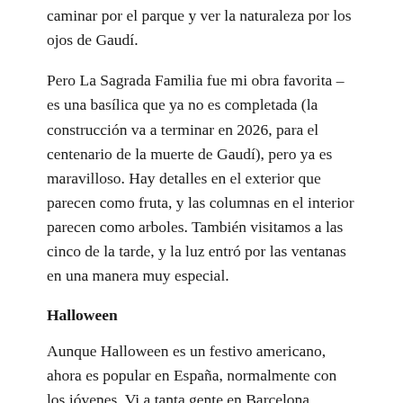caminar por el parque y ver la naturaleza por los ojos de Gaudí.
Pero La Sagrada Familia fue mi obra favorita – es una basílica que ya no es completada (la construcción va a terminar en 2026, para el centenario de la muerte de Gaudí), pero ya es maravilloso. Hay detalles en el exterior que parecen como fruta, y las columnas en el interior parecen como arboles. También visitamos a las cinco de la tarde, y la luz entró por las ventanas en una manera muy especial.
Halloween
Aunque Halloween es un festivo americano, ahora es popular en España, normalmente con los jóvenes. Vi a tanta gente en Barcelona vestida en disfrazes, pero observé más disfrazes asustados en vez de vestirse como un animal o algo muy mono como en los